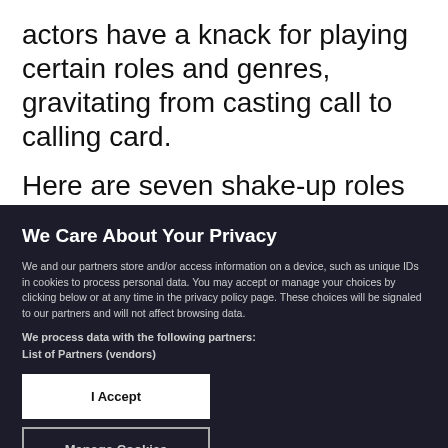actors have a knack for playing certain roles and genres, gravitating from casting call to calling card.
Here are seven shake-up roles starring some of
We Care About Your Privacy
We and our partners store and/or access information on a device, such as unique IDs in cookies to process personal data. You may accept or manage your choices by clicking below or at any time in the privacy policy page. These choices will be signaled to our partners and will not affect browsing data.
We process data with the following partners:
List of Partners (vendors)
I Accept
Manage Cookies